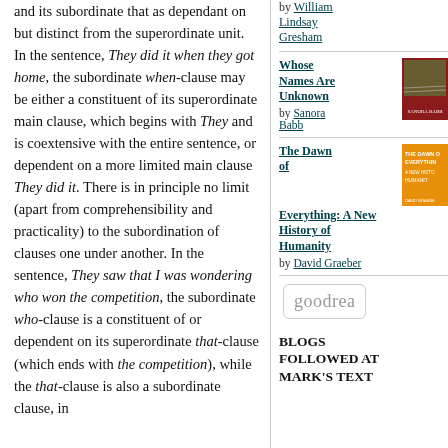and its subordinate that as dependant on but distinct from the superordinate unit. In the sentence, They did it when they got home, the subordinate when-clause may be either a constituent of its superordinate main clause, which begins with They and is coextensive with the entire sentence, or dependent on a more limited main clause They did it. There is in principle no limit (apart from comprehensibility and practicality) to the subordination of clauses one under another. In the sentence, They saw that I was wondering who won the competition, the subordinate who-clause is a constituent of or dependent on its superordinate that-clause (which ends with the competition), while the that-clause is also a subordinate clause, in
by William Lindsay Gresham
Whose Names Are Unknown by Sanora Babb
[Figure (illustration): Book cover for Whose Names Are Unknown by Sanora Babb, red cover with field imagery]
The Dawn of Everything: A New History of Humanity by David Graeber
[Figure (illustration): Book cover for The Dawn of Everything, orange cover with text]
goodrea
BLOGS FOLLOWED AT MARK'S TEXT